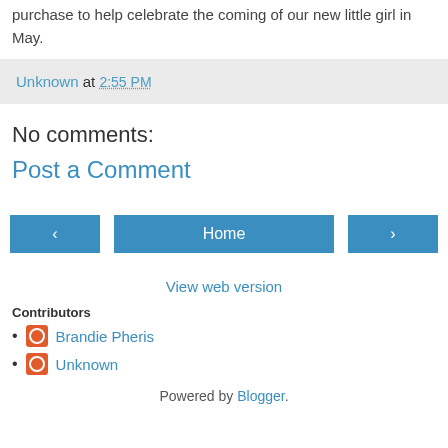purchase to help celebrate the coming of our new little girl in May.
Unknown at 2:55 PM
No comments:
Post a Comment
‹  Home  ›
View web version
Contributors
Brandie Pheris
Unknown
Powered by Blogger.